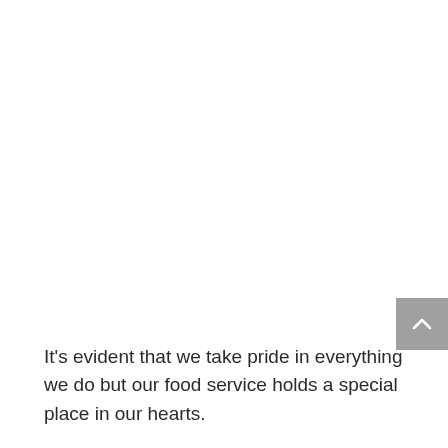[Figure (other): Gray scroll-to-top button with a white upward chevron arrow, positioned at the right edge of the page]
It's evident that we take pride in everything we do but our food service holds a special place in our hearts.